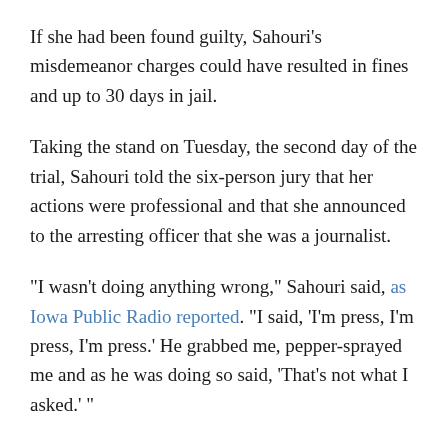If she had been found guilty, Sahouri's misdemeanor charges could have resulted in fines and up to 30 days in jail.
Taking the stand on Tuesday, the second day of the trial, Sahouri told the six-person jury that her actions were professional and that she announced to the arresting officer that she was a journalist.
"I wasn't doing anything wrong," Sahouri said, as Iowa Public Radio reported. "I said, 'I'm press, I'm press, I'm press.' He grabbed me, pepper-sprayed me and as he was doing so said, 'That's not what I asked.' "
Police body cam video that was shown to the jury supported Sahouri's version of events, showing that as she dealt with the effects of the pepper spray, she told the officer: "This is